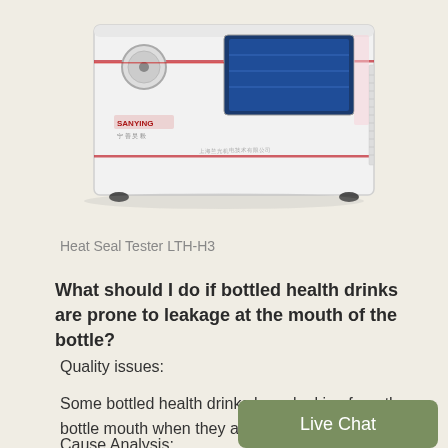[Figure (photo): Heat Seal Tester LTH-H3 device — a white rectangular laboratory instrument with a control knob, blue LCD display screen, red accent lines, ventilation grilles on the side, and rubber feet at the bottom.]
Heat Seal Tester LTH-H3
What should I do if bottled health drinks are prone to leakage at the mouth of the bottle?
Quality issues:
Some bottled health drinks have leaking from the bottle mouth when they are not opened.
Cause Analysis:
Product packaging process